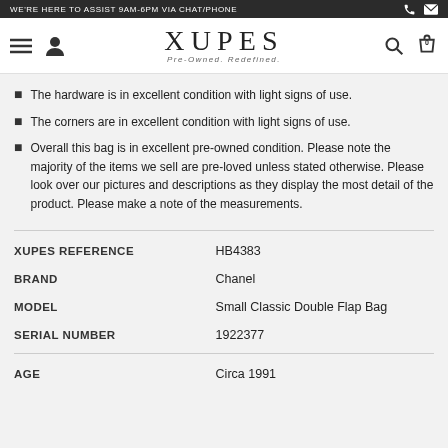WE'RE HERE TO ASSIST 9AM-6PM VIA CHAT/PHONE
[Figure (logo): XUPES Pre-Owned. Redefined. logo with navigation icons]
The hardware is in excellent condition with light signs of use.
The corners are in excellent condition with light signs of use.
Overall this bag is in excellent pre-owned condition. Please note the majority of the items we sell are pre-loved unless stated otherwise. Please look over our pictures and descriptions as they display the most detail of the product. Please make a note of the measurements.
| Field | Value |
| --- | --- |
| XUPES REFERENCE | HB4383 |
| BRAND | Chanel |
| MODEL | Small Classic Double Flap Bag |
| SERIAL NUMBER | 1922377 |
| AGE | Circa 1991 |